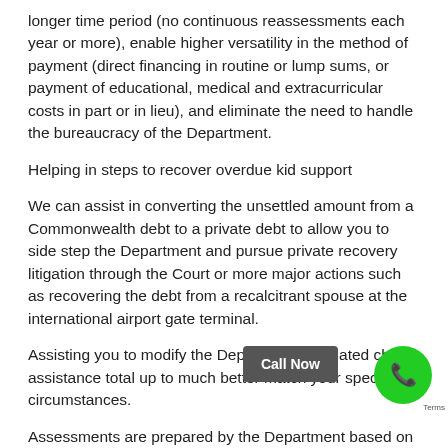longer time period (no continuous reassessments each year or more), enable higher versatility in the method of payment (direct financing in routine or lump sums, or payment of educational, medical and extracurricular costs in part or in lieu), and eliminate the need to handle the bureaucracy of the Department.
Helping in steps to recover overdue kid support
We can assist in converting the unsettled amount from a Commonwealth debt to a private debt to allow you to side step the Department and pursue private recovery litigation through the Court or more major actions such as recovering the debt from a recalcitrant spouse at the international airport gate terminal.
Assisting you to modify the Department evaluated child assistance total up to much better match your specific circumstances.
Assessments are prepared by the Department based on a